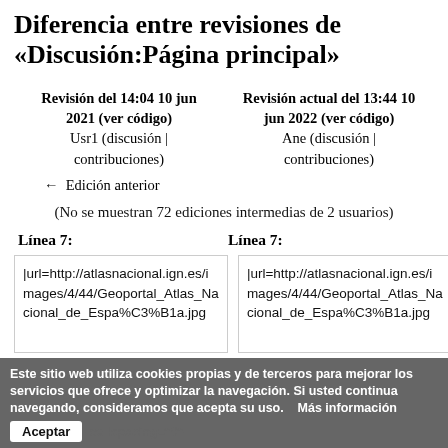Diferencia entre revisiones de «Discusión:Página principal»
Revisión del 14:04 10 jun 2021 (ver código)
Usr1 (discusión | contribuciones)
← Edición anterior
Revisión actual del 13:44 10 jun 2022 (ver código)
Ane (discusión | contribuciones)
(No se muestran 72 ediciones intermedias de 2 usuarios)
Línea 7:
Línea 7:
|url=http://atlasnacional.ign.es/images/4/44/Geoportal_Atlas_Nacional_de_Espa%C3%B1a.jpg
|url=http://atlasnacional.ign.es/images/4/44/Geoportal_Atlas_Nacional_de_Espa%C3%B1a.jpg
Este sitio web utiliza cookies propias y de terceros para mejorar los servicios que ofrece y optimizar la navegación. Si usted continua navegando, consideramos que acepta su uso.   Más información
Aceptar